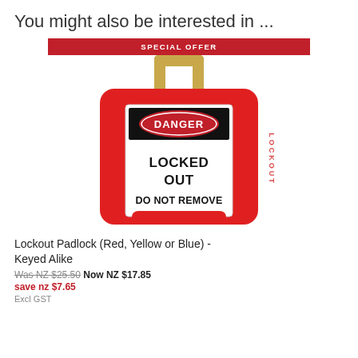You might also be interested in ...
[Figure (photo): Red safety lockout padlock with 'DANGER - LOCKED OUT DO NOT REMOVE' label, with SAFETY LOCKOUT text on the sides, showing a metal shackle at top.]
Lockout Padlock (Red, Yellow or Blue) - Keyed Alike
Was NZ $25.50  Now NZ $17.85  save nz $7.65  Excl GST